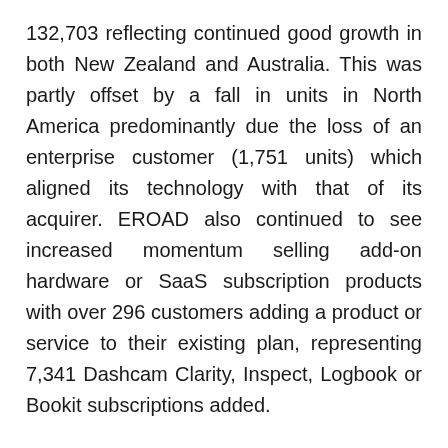132,703 reflecting continued good growth in both New Zealand and Australia. This was partly offset by a fall in units in North America predominantly due the loss of an enterprise customer (1,751 units) which aligned its technology with that of its acquirer. EROAD also continued to see increased momentum selling add-on hardware or SaaS subscription products with over 296 customers adding a product or service to their existing plan, representing 7,341 Dashcam Clarity, Inspect, Logbook or Bookit subscriptions added.
EROAD's Asset Retention Rate remained high at 94.1%, reflecting the quality of EROAD's service and product offering. In addition, 538 customers across all markets renewed their EROAD plan (representing some 16,481 contracted units). EROAD's Annualised Monthly Recurring Revenue metric increased to